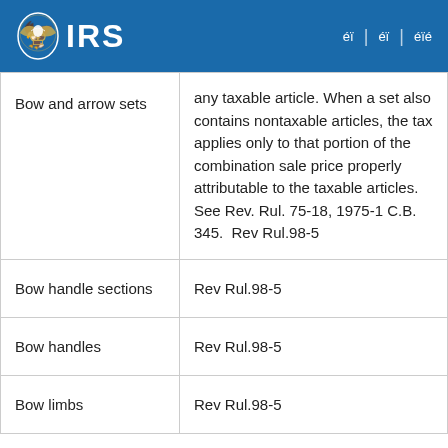IRS
| Item | Reference |
| --- | --- |
| Bow and arrow sets | any taxable article. When a set also contains nontaxable articles, the tax applies only to that portion of the combination sale price properly attributable to the taxable articles. See Rev. Rul. 75-18, 1975-1 C.B. 345.  Rev Rul.98-5 |
| Bow handle sections | Rev Rul.98-5 |
| Bow handles | Rev Rul.98-5 |
| Bow limbs | Rev Rul.98-5 |